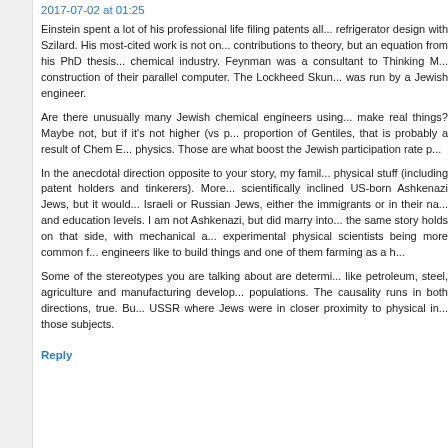2017-07-02 at 01:25
Einstein spent a lot of his professional life filing patents all... refrigerator design with Szilard. His most-cited work is not on... contributions to theory, but an equation from his PhD thesis... chemical industry. Feynman was a consultant to Thinking M... construction of their parallel computer. The Lockheed Skun... was run by a Jewish engineer.
Are there unusually many Jewish chemical engineers using... make real things? Maybe not, but if it's not higher (vs p... proportion of Gentiles, that is probably a result of Chem E... physics. Those are what boost the Jewish participation rate p...
In the anecdotal direction opposite to your story, my fami... physical stuff (including patent holders and tinkerers). More... scientifically inclined US-born Ashkenazi Jews, but it would... Israeli or Russian Jews, either the immigrants or in their na... and education levels. I am not Ashkenazi, but did marry into... the same story holds on that side, with mechanical a... experimental physical scientists being more common f... engineers like to build things and one of them farming as a h...
Some of the stereotypes you are talking about are determi... like petroleum, steel, agriculture and manufacturing develop... populations. The causality runs in both directions, true. Bu... USSR where Jews were in closer proximity to physical in... those subjects.
Reply